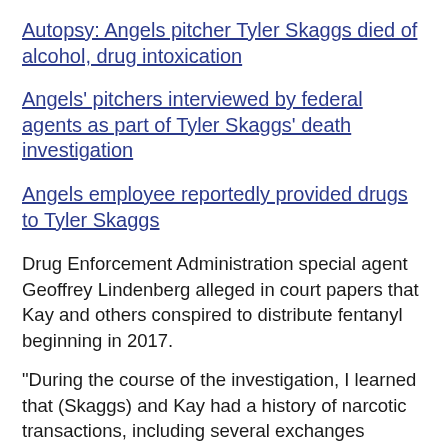Autopsy: Angels pitcher Tyler Skaggs died of alcohol, drug intoxication
Angels' pitchers interviewed by federal agents as part of Tyler Skaggs' death investigation
Angels employee reportedly provided drugs to Tyler Skaggs
Drug Enforcement Administration special agent Geoffrey Lindenberg alleged in court papers that Kay and others conspired to distribute fentanyl beginning in 2017.
"During the course of the investigation, I learned that (Skaggs) and Kay had a history of narcotic transactions, including several exchanges wherein Kay acquired oxycodone pills for (Skaggs) and others from Kay's